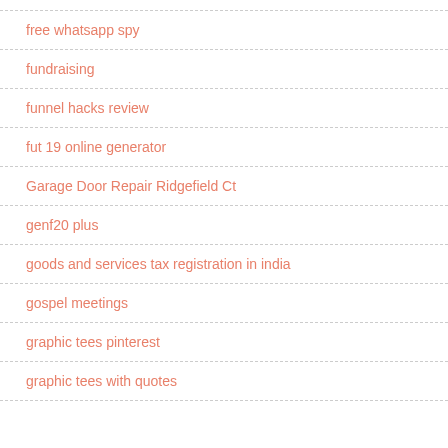free whatsapp spy
fundraising
funnel hacks review
fut 19 online generator
Garage Door Repair Ridgefield Ct
genf20 plus
goods and services tax registration in india
gospel meetings
graphic tees pinterest
graphic tees with quotes